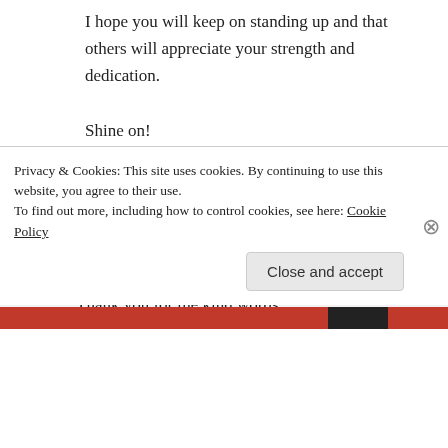I hope you will keep on standing up and that others will appreciate your strength and dedication.
Shine on!
★ Liked by 1 person
↪ Reply
Mandi on February 11, 2017 at 5:23 pm
Thank you for the kind words.
Privacy & Cookies: This site uses cookies. By continuing to use this website, you agree to their use.
To find out more, including how to control cookies, see here: Cookie Policy
Close and accept